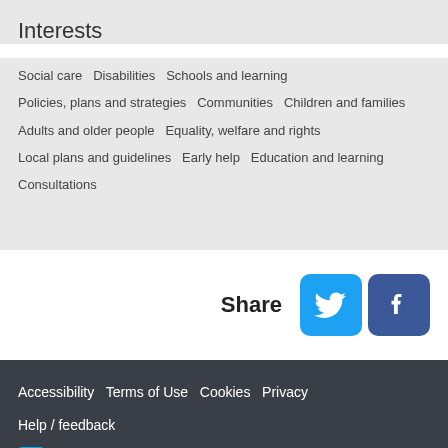Interests
Social care   Disabilities   Schools and learning   Policies, plans and strategies   Communities   Children and families   Adults and older people   Equality, welfare and rights   Local plans and guidelines   Early help   Education and learning   Consultations
Share
Accessibility   Terms of Use   Cookies   Privacy   Help / feedback   Citizen Space from Delib